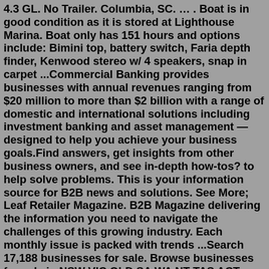4.3 GL. No Trailer. Columbia, SC. … . Boat is in good condition as it is stored at Lighthouse Marina. Boat only has 151 hours and options include: Bimini top, battery switch, Faria depth finder, Kenwood stereo w/ 4 speakers, snap in carpet ...Commercial Banking provides businesses with annual revenues ranging from $20 million to more than $2 billion with a range of domestic and international solutions including investment banking and asset management — designed to help you achieve your business goals.Find answers, get insights from other business owners, and see in-depth how-tos? to help solve problems. This is your information source for B2B news and solutions. See More; Leaf Retailer Magazine. B2B Magazine delivering the information you need to navigate the challenges of this growing industry. Each monthly issue is packed with trends ...Search 17,188 businesses for sale. Browse businesses for sale in NSW VIC QLD SA WA NT TAS ACT. Cafe & Coffee Shop. Leisure & Entertainment. Import, Export, Wholesale. Building & Construction. Florist. Sports Complex &